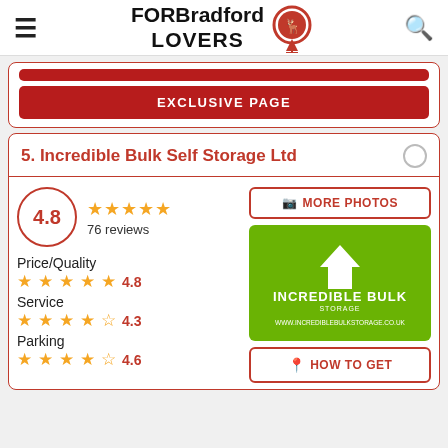FOR Bradford LOVERS
EXCLUSIVE PAGE
5. Incredible Bulk Self Storage Ltd
4.8 — 76 reviews
Price/Quality 4.8
Service 4.3
Parking 4.6
[Figure (logo): Incredible Bulk Storage logo on green background with website www.incrediblebulkstorage.co.uk]
MORE PHOTOS
HOW TO GET